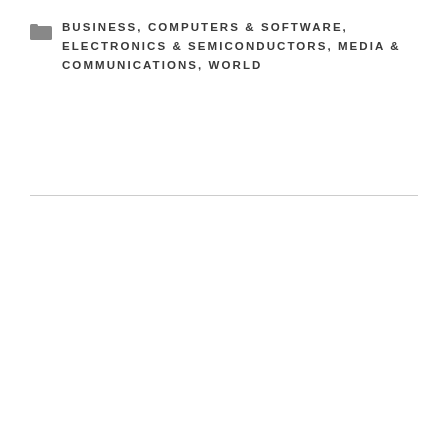BUSINESS, COMPUTERS & SOFTWARE, ELECTRONICS & SEMICONDUCTORS, MEDIA & COMMUNICATIONS, WORLD